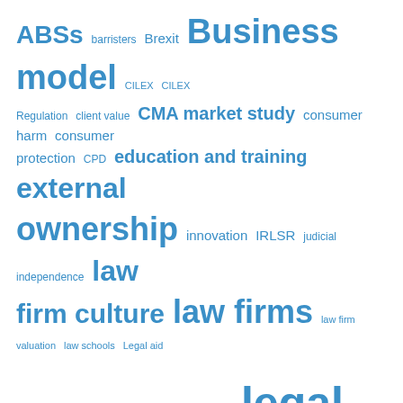[Figure (infographic): Word cloud of legal topics in blue, with font size indicating frequency/importance. Terms include: ABSs, barristers, Brexit, Business model, CILEX, CILEX Regulation, client value, CMA market study, consumer harm, consumer protection, CPD, education and training, external ownership, innovation, IRLSR, judicial independence, law firm culture, law firms, law firm valuation, law schools, Legal aid, legal education and training, legal executives, legal services, legal services act 2007, LSB, moral obligation, PEP, pro bono, professional ethics, profitability, regulation, regulatory reform, reserved activities, rule of law, sole practitioners, SRA, taxation, unmet legal need.]